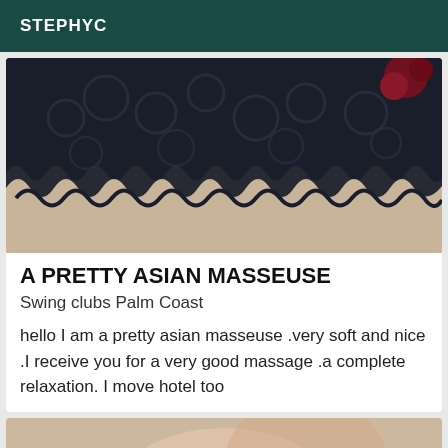STEPHYC
[Figure (photo): Close-up photo of a person wearing a black lace garment, cropped view showing the lace detail against a beige/tan background.]
A PRETTY ASIAN MASSEUSE
Swing clubs Palm Coast
hello I am a pretty asian masseuse .very soft and nice .I receive you for a very good massage .a complete relaxation. I move hotel too
[Figure (photo): Partial photo showing a person, cropped at the bottom of the page.]